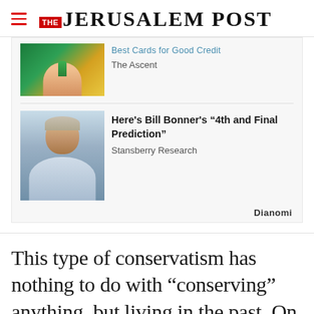THE JERUSALEM POST
[Figure (screenshot): Sponsored content widget from Dianomi showing two ad items. First (partially visible): an image of a hand with a plant on green background, title partially cut off, source 'The Ascent'. Second: a photo of an older man in blue shirt, title "Here's Bill Bonner's '4th and Final Prediction'", source 'Stansberry Research'. Dianomi logo at bottom right.]
This type of conservatism has nothing to do with “conserving” anything, but living in the past. On
Advertisement